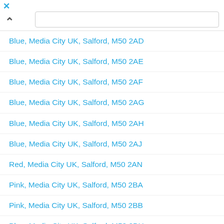Blue, Media City UK, Salford, M50 2AD
Blue, Media City UK, Salford, M50 2AE
Blue, Media City UK, Salford, M50 2AF
Blue, Media City UK, Salford, M50 2AG
Blue, Media City UK, Salford, M50 2AH
Blue, Media City UK, Salford, M50 2AJ
Red, Media City UK, Salford, M50 2AN
Pink, Media City UK, Salford, M50 2BA
Pink, Media City UK, Salford, M50 2BB
Blue, Media City UK, Salford, M50 2BH
Red, Media City UK, Salford, M50 2BS
Salford, M50 2DW (No Longer In Use)
Broadway, Salford, M50 2EQ
Salford, M50 2FH (No Longer In Use)